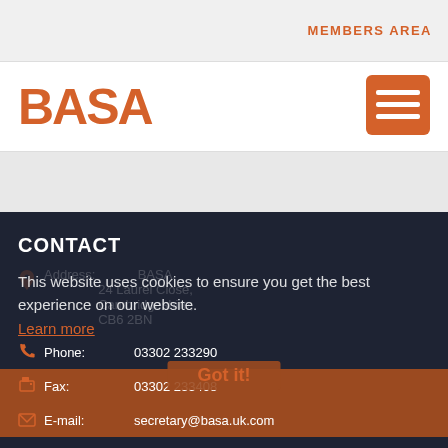MEMBERS AREA
[Figure (logo): BASA logo in orange text]
[Figure (other): Hamburger menu button (orange square with three white lines)]
CONTACT
Address: BASA, 24 Laurel Close, Cambridgeshire, CB6 2BN
This website uses cookies to ensure you get the best experience on our website.
Learn more
Phone: 03302 233290
Fax: 03302 233408
E-mail: secretary@basa.uk.com
Got it!
INFORMATION